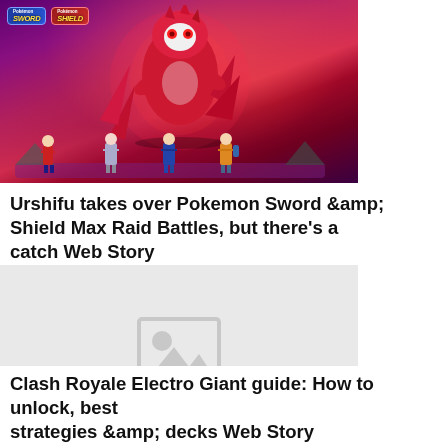[Figure (screenshot): Pokemon Sword and Shield game screenshot showing a large red dynamic Pokemon (Urshifu Gigantamax) towering over four trainers on a purple/magenta battlefield. Pokemon Sword and Shield logos visible in top left corner.]
Urshifu takes over Pokemon Sword &amp; Shield Max Raid Battles, but there's a catch Web Story
[Figure (photo): Placeholder image with a grey background and a white image placeholder icon (mountain/landscape icon)]
Clash Royale Electro Giant guide: How to unlock, best strategies &amp; decks Web Story